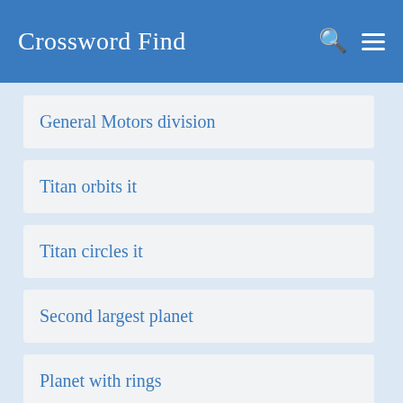Crossword Find
General Motors division
Titan orbits it
Titan circles it
Second largest planet
Planet with rings
Planet explored by Voyager I
General Motors product